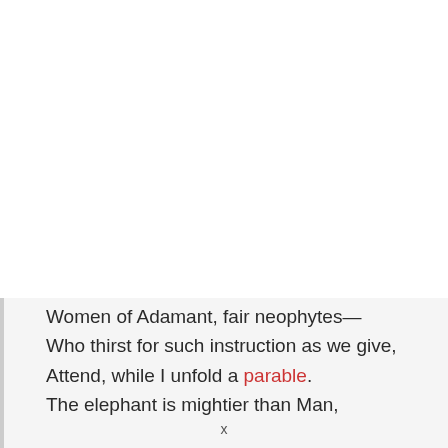Women of Adamant, fair neophytes—
Who thirst for such instruction as we give,
Attend, while I unfold a parable.
The elephant is mightier than Man,
x